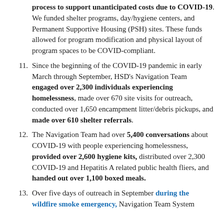process to support unanticipated costs due to COVID-19. We funded shelter programs, day/hygiene centers, and Permanent Supportive Housing (PSH) sites. These funds allowed for program modification and physical layout of program spaces to be COVID-compliant.
11. Since the beginning of the COVID-19 pandemic in early March through September, HSD's Navigation Team engaged over 2,300 individuals experiencing homelessness, made over 670 site visits for outreach, conducted over 1,650 encampment litter/debris pickups, and made over 610 shelter referrals.
12. The Navigation Team had over 5,400 conversations about COVID-19 with people experiencing homelessness, provided over 2,600 hygiene kits, distributed over 2,300 COVID-19 and Hepatitis A related public health fliers, and handed out over 1,100 boxed meals.
13. Over five days of outreach in September during the wildfire smoke emergency, Navigation Team System